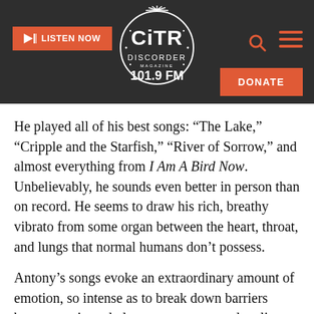[Figure (logo): CiTR Discorder 101.9 FM radio station logo — white circular badge with rays at top, on dark background. Orange 'LISTEN NOW' button on left, orange search and menu icons on right, orange 'DONATE' button bottom right.]
He played all of his best songs: “The Lake,” “Cripple and the Starfish,” “River of Sorrow,” and almost everything from I Am A Bird Now. Unbelievably, he sounds even better in person than on record. He seems to draw his rich, breathy vibrato from some organ between the heart, throat, and lungs that normal humans don’t possess.
Antony’s songs evoke an extraordinary amount of emotion, so intense as to break down barriers between pain and pleasure, memory and reality, and even accepted conventions of propriety, but